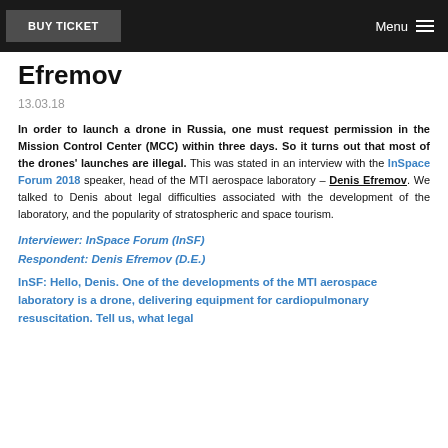BUY TICKET   Menu
Efremov
13.03.18
In order to launch a drone in Russia, one must request permission in the Mission Control Center (MCC) within three days. So it turns out that most of the drones' launches are illegal. This was stated in an interview with the InSpace Forum 2018 speaker, head of the MTI aerospace laboratory – Denis Efremov. We talked to Denis about legal difficulties associated with the development of the laboratory, and the popularity of stratospheric and space tourism.
Interviewer: InSpace Forum (InSF)
Respondent: Denis Efremov (D.E.)
InSF: Hello, Denis. One of the developments of the MTI aerospace laboratory is a drone, delivering equipment for cardiopulmonary resuscitation. Tell us, what legal